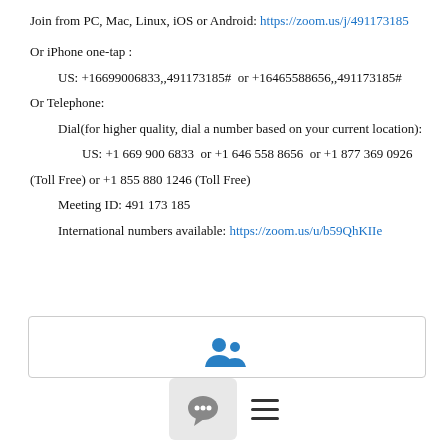Join from PC, Mac, Linux, iOS or Android: https://zoom.us/j/491173185
Or iPhone one-tap :
    US: +16699006833,,491173185#  or +16465588656,,491173185#
Or Telephone:
    Dial(for higher quality, dial a number based on your current location):
        US: +1 669 900 6833  or +1 646 558 8656  or +1 877 369 0926
(Toll Free) or +1 855 880 1246 (Toll Free)
    Meeting ID: 491 173 185
    International numbers available: https://zoom.us/u/b59QhKIIe
[Figure (screenshot): Bottom UI bar with a rounded rectangle box, a chat bubble icon button, and a hamburger menu icon]